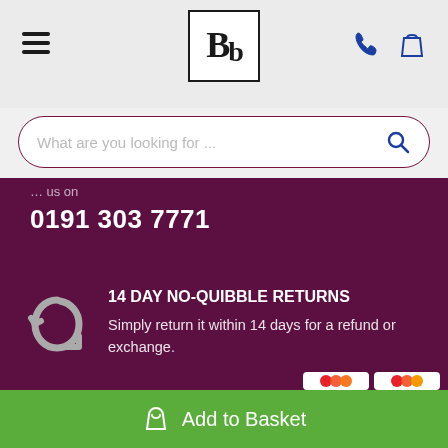[Figure (logo): Bb logo in a square border box, top center]
What are you looking for ...
us on
0191 303 7771
14 DAY NO-QUIBBLE RETURNS
Simply return it within 14 days for a refund or exchange.
[Figure (logo): Opayo payment logo and Visa/Mastercard card logos]
Add to Basket